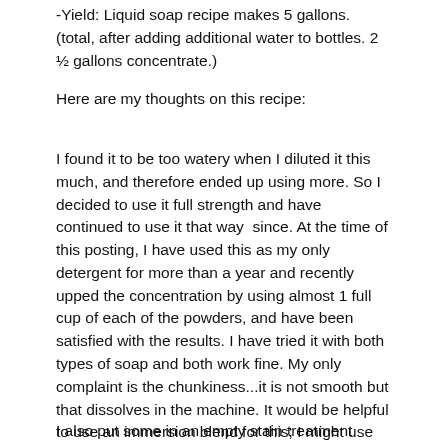-Yield: Liquid soap recipe makes 5 gallons. (total, after adding additional water to bottles. 2 ½ gallons concentrate.)
Here are my thoughts on this recipe:
I found it to be too watery when I diluted it this much, and therefore ended up using more. So I decided to use it full strength and have continued to use it that way  since. At the time of this posting, I have used this as my only detergent for more than a year and recently upped the concentration by using almost 1 full cup of each of the powders, and have been satisfied with the results. I have tried it with both types of soap and both work fine. My only complaint is the chunkiness...it is not smooth but that dissolves in the machine. It would be helpful to use an immersion blend for this; I might use my vitamix to blend it in batches but am not sure it's worth the effort.
I also put some in an empty stain treatment spray bottle